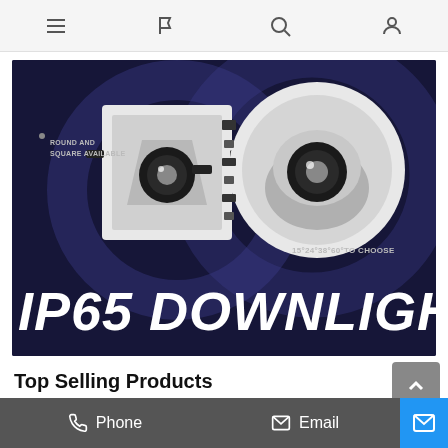navigation icons: menu, flag, search, user
[Figure (photo): IP65 Downlight product banner showing square and round white LED downlight fixtures on dark navy background with text 'ROUND AND SQUARE AVAILABLE', '15*24*38*60*TO CHOOSE', and large heading 'IP65 DOWNLIGHT']
Top Selling Products
Phone
Email